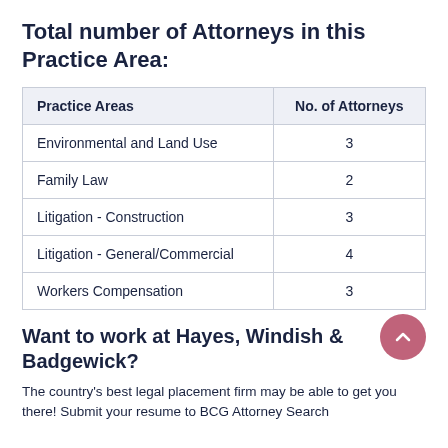Total number of Attorneys in this Practice Area:
| Practice Areas | No. of Attorneys |
| --- | --- |
| Environmental and Land Use | 3 |
| Family Law | 2 |
| Litigation - Construction | 3 |
| Litigation - General/Commercial | 4 |
| Workers Compensation | 3 |
Want to work at Hayes, Windish & Badgewick?
The country's best legal placement firm may be able to get you there! Submit your resume to BCG Attorney Search